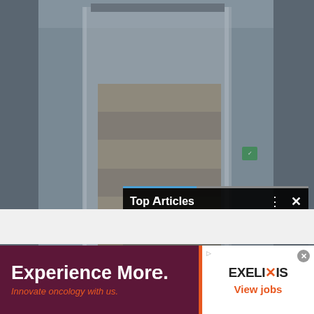[Figure (screenshot): Blurred warehouse/loading dock photo showing pallets loaded in a shipping container, industrial setting with metal walls and overhead tracks.]
Top Articles
2 remaining
[Figure (illustration): Small illustrated graphic with orange megaphone/speaker icon and blue circular design elements on white background with red left border.]
Experience More.
Innovate oncology with us.
EXELIXIS
View jobs